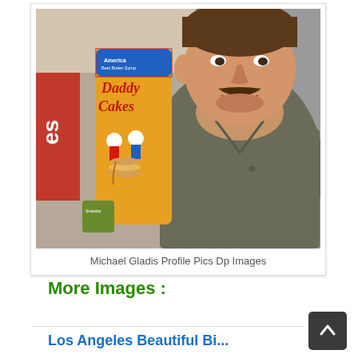[Figure (photo): A man with a mustache and stubble holding a bottle/container of 'Daddy Cakes' pancake mix product with yellow label, smiling at the camera. He is wearing a grey shirt. Background shows store/event setting.]
Michael Gladis Profile Pics Dp Images
More Images :
Los Angeles Beautiful Bi...